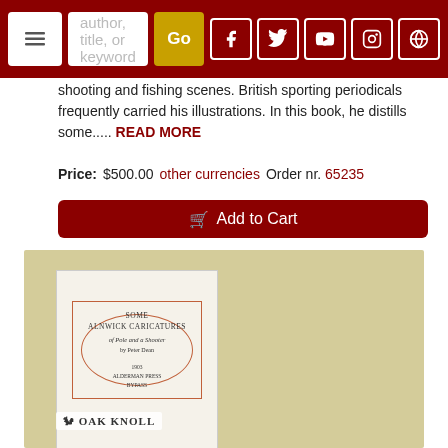[Figure (screenshot): Website navigation bar with hamburger menu, search field saying 'author, title, or keyword', Go button, and social media icons (Facebook, Twitter, YouTube, Instagram, WordPress) on dark red background]
shooting and fishing scenes. British sporting periodicals frequently carried his illustrations. In this book, he distills some..... READ MORE
Price: $500.00   other currencies   Order nr. 65235
Add to Cart
[Figure (photo): Book cover of 'Some Alnwick Caricatures of Pole and a Shooter by Peter Dean' displayed against olive/tan background, with Oak Knoll bookstore logo at bottom left]